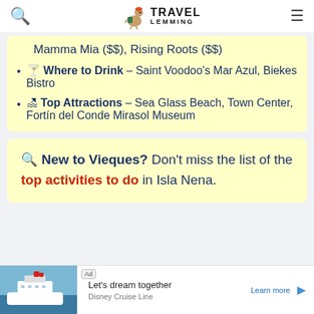Travel Lemming
Mamma Mia ($$), Rising Roots ($$)
🍹 Where to Drink – Saint Voodoo's Mar Azul, Biekes Bistro
🏖 Top Attractions – Sea Glass Beach, Town Center, Fortín del Conde Mirasol Museum
🔍 New to Vieques? Don't miss the list of the top activities to do in Isla Nena.
[Figure (screenshot): Disney Cruise Line advertisement showing a cruise ship at sea with text 'Let's dream together' and 'Learn more' link]